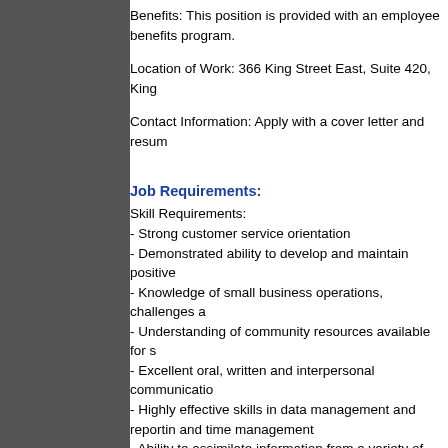Benefits: This position is provided with an employee benefits program.
Location of Work: 366 King Street East, Suite 420, King...
Contact Information: Apply with a cover letter and resum...
Job Requirements:
Skill Requirements:
- Strong customer service orientation
- Demonstrated ability to develop and maintain positive
- Knowledge of small business operations, challenges a...
- Understanding of community resources available for s...
- Excellent oral, written and interpersonal communicatio...
- Highly effective skills in data management and reporting and time management
- Ability to assimilate information from a variety of sourc...
- Proactive, enthusiastic self-starter with advanced prob...
- Advanced software skills including Salesforce CRM, e... management
Further Skill Requirements:
- A Post-Secondary degree or certificate in Economic D... Entrepreneurship, Commerce or a related discipline OR... experience
- Demonstrated knowledge of the economy in Eastern O...
- Exceptional business, political acumen and manageme... professionally and effectively with small business owner... funders